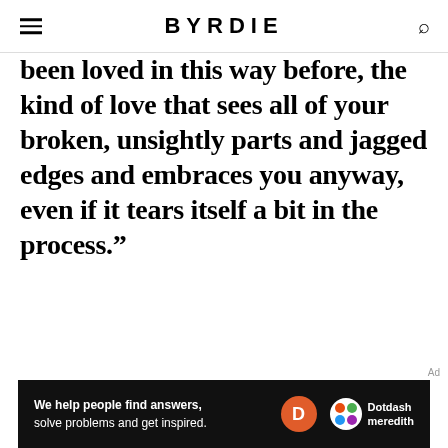BYRDIE
been loved in this way before, the kind of love that sees all of your broken, unsightly parts and jagged edges and embraces you anyway, even if it tears itself a bit in the process."
[Figure (other): Dotdash Meredith advertisement banner: 'We help people find answers, solve problems and get inspired.' with Dotdash Meredith logo]